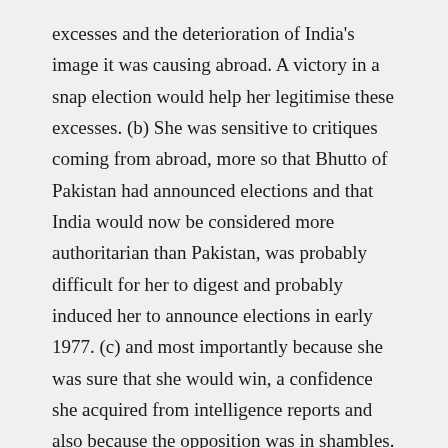excesses and the deterioration of India's image it was causing abroad. A victory in a snap election would help her legitimise these excesses. (b) She was sensitive to critiques coming from abroad, more so that Bhutto of Pakistan had announced elections and that India would now be considered more authoritarian than Pakistan, was probably difficult for her to digest and probably induced her to announce elections in early 1977. (c) and most importantly because she was sure that she would win, a confidence she acquired from intelligence reports and also because the opposition was in shambles.
The book also reinforces the view of cynics